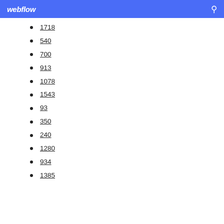webflow
1718
540
700
913
1078
1543
93
350
240
1280
934
1385